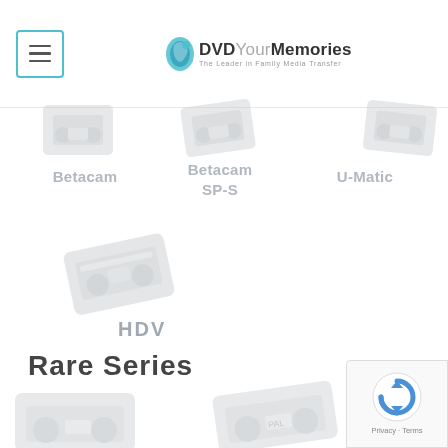DVDYourMemories - The Leader in Family Media Transfer
Betacam
Betacam SP-S
U-Matic
[Figure (illustration): HDV tape cassette icon, tilted, greyed out]
HDV
Rare Series
[Figure (illustration): Two tape cassette icons partially visible at bottom, greyed out]
[Figure (logo): reCAPTCHA Privacy Terms badge]